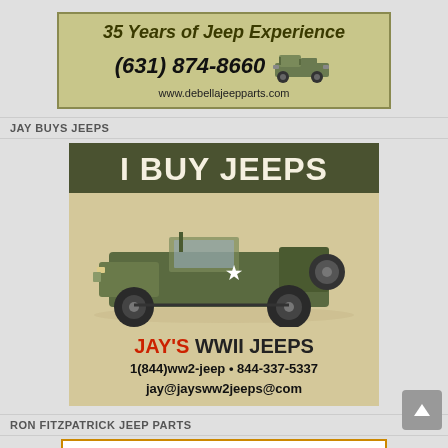[Figure (illustration): DeBella Jeep Parts advertisement: olive/tan background with text '35 Years of Jeep Experience', phone number (631) 874-8660, website www.debellajeepparts.com, and a small WWII military jeep illustration]
JAY BUYS JEEPS
[Figure (illustration): Jay's WWII Jeeps advertisement: olive green header with 'I BUY JEEPS' in large white letters, tan background with photo of WWII military jeep, footer text 'JAY'S WWII JEEPS', contact info '1(844)ww2-jeep • 844-337-5337', 'jay@jaysww2jeeps@com']
RON FITZPATRICK JEEP PARTS
[Figure (illustration): Ron Fitzpatrick Jeep Parts advertisement header showing orange/red bold text 'RON FITZPATRICK JEEP PARTS']